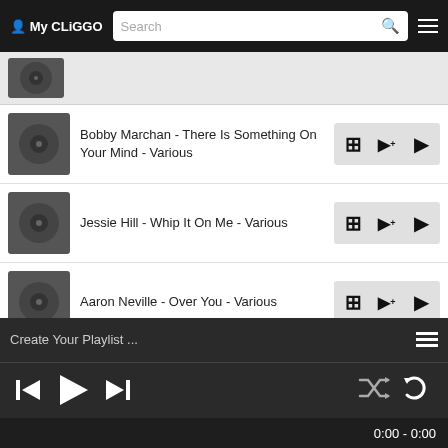My CLiGGO  Search
[Figure (screenshot): Partially visible first track item with album art thumbnail]
Bobby Marchan - There Is Something On Your Mind - Various
Jessie Hill - Whip It On Me - Various
Aaron Neville - Over You - Various
Clarence Frogman Henry - But I Do - Various
Create Your Playlist ... | 0:00 - 0:00